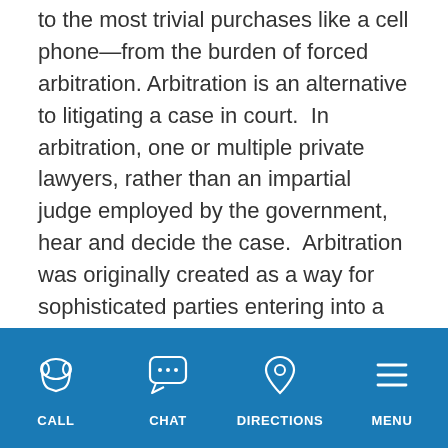to the most trivial purchases like a cell phone—from the burden of forced arbitration. Arbitration is an alternative to litigating a case in court.  In arbitration, one or multiple private lawyers, rather than an impartial judge employed by the government, hear and decide the case.  Arbitration was originally created as a way for sophisticated parties entering into a contract to agree to an alternative means of resolving disputes between them.  But in the years since, arbitration metastasized from its
[Figure (infographic): Mobile navigation bar with blue background containing four items: CALL (telephone icon), CHAT (speech bubble icon), DIRECTIONS (map pin icon), MENU (hamburger menu icon)]